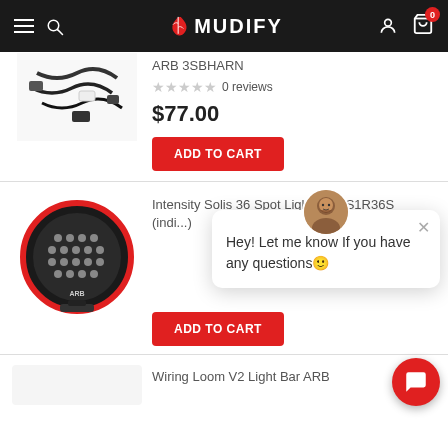MUDIFY - navigation bar with menu, search, account, cart (0 items)
[Figure (photo): Partial product photo showing wiring harness/cables for ARB 3SBHARN]
ARB 3SBHARN
0 reviews
$77.00
ADD TO CART
[Figure (photo): ARB Intensity Solis 36 Spot Light - round LED light with red trim ring]
Intensity Solis 36 Spot Light ARB S1R36S (indi...)
ADD TO CART
[Figure (screenshot): Chat popup with agent avatar saying: Hey! Let me know If you have any questions🙂]
Wiring Loom V2 Light Bar ARB
Chat support button (red circle with chat icon)